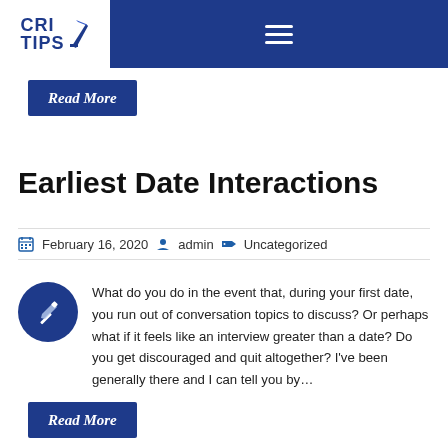CRI TIPS
[Figure (logo): CRI TIPS logo with pen icon on white background inside blue navigation bar]
Read More
Earliest Date Interactions
February 16, 2020   admin   Uncategorized
What do you do in the event that, during your first date, you run out of conversation topics to discuss? Or perhaps what if it feels like an interview greater than a date? Do you get discouraged and quit altogether? I've been generally there and I can tell you by…
Read More